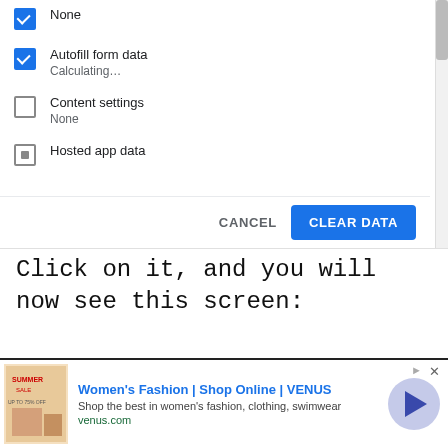[Figure (screenshot): Chrome browser dialog showing checkboxes for clearing browsing data: None (unchecked), Autofill form data (checked, showing Calculating...), Content settings (unchecked, None), Hosted app data (partially visible). Dialog has CANCEL and CLEAR DATA buttons.]
Click on it, and you will now see this screen:
Click on “the beginning of time” and the top 5 options shown ticked above. These are
Download history